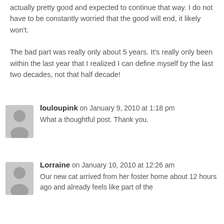actually pretty good and expected to continue that way. I do not have to be constantly worried that the good will end, it likely won't.
The bad part was really only about 5 years. It's really only been within the last year that I realized I can define myself by the last two decades, not that half decade!
louloupink on January 9, 2010 at 1:18 pm
What a thoughtful post. Thank you.
Lorraine on January 10, 2010 at 12:26 am
Our new cat arrived from her foster home about 12 hours ago and already feels like part of the